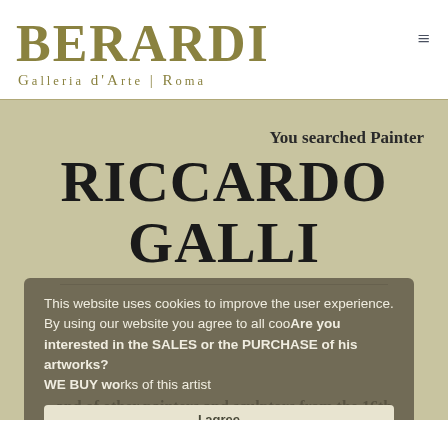BERARDI
Galleria d'Arte | Roma
You searched Painter
RICCARDO GALLI
This website uses cookies to improve the user experience. By using our website you agree to all cookies in accordance with this Policy.
Are you interested in the SALES or the PURCHASE of his artworks?
WE BUY works of this artist
and of other painters and sculptors from the 16th